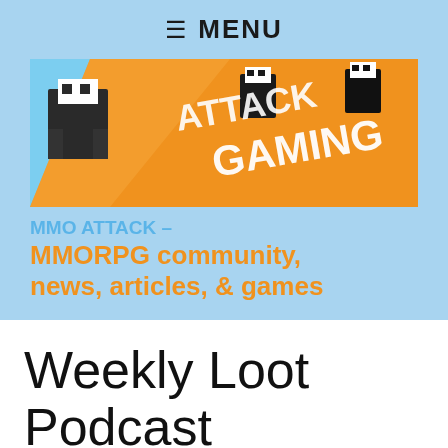≡ MENU
[Figure (illustration): MMO Attack Gaming banner with pixel art ninja characters on an orange and blue background with text ATTACK GAMING]
MMO ATTACK – MMORPG community, news, articles, & games
Weekly Loot Podcast
Halo 1 Sucked, First